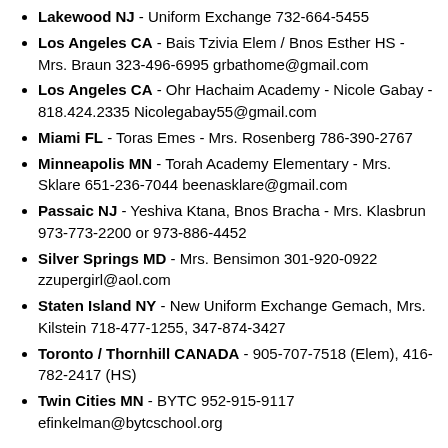Lakewood NJ - Uniform Exchange 732-664-5455
Los Angeles CA - Bais Tzivia Elem / Bnos Esther HS - Mrs. Braun 323-496-6995 grbathome@gmail.com
Los Angeles CA - Ohr Hachaim Academy - Nicole Gabay - 818.424.2335 Nicolegabay55@gmail.com
Miami FL - Toras Emes - Mrs. Rosenberg 786-390-2767
Minneapolis MN - Torah Academy Elementary - Mrs. Sklare 651-236-7044 beenasklare@gmail.com
Passaic NJ - Yeshiva Ktana, Bnos Bracha - Mrs. Klasbrun 973-773-2200 or 973-886-4452
Silver Springs MD - Mrs. Bensimon 301-920-0922 zzupergirl@aol.com
Staten Island NY - New Uniform Exchange Gemach, Mrs. Kilstein 718-477-1255, 347-874-3427
Toronto / Thornhill CANADA - 905-707-7518 (Elem), 416-782-2417 (HS)
Twin Cities MN - BYTC 952-915-9117 efinkelman@bytcschool.org